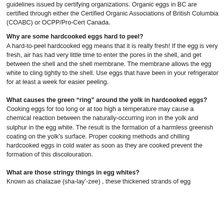guidelines issued by certifying organizations. Organic eggs in BC are certified through either the Certified Organic Associations of British Columbia (COABC) or OCPP/Pro-Cert Canada.
Why are some hardcooked eggs hard to peel?
A hard-to-peel hardcooked egg means that it is really fresh! If the egg is very fresh, air has had very little time to enter the pores in the shell, and get between the shell and the shell membrane. The membrane allows the egg white to cling tightly to the shell. Use eggs that have been in your refrigerator for at least a week for easier peeling.
What causes the green “ring” around the yolk in hardcooked eggs?
Cooking eggs for too long or at too high a temperature may cause a chemical reaction between the naturally-occurring iron in the yolk and sulphur in the egg white. The result is the formation of a harmless greenish coating on the yolk’s surface. Proper cooking methods and chilling hardcooked eggs in cold water as soon as they are cooked prevent the formation of this discolouration.
What are those stringy things in egg whites?
Known as chalazae (sha-lay’-zee) , these thickened strands of egg